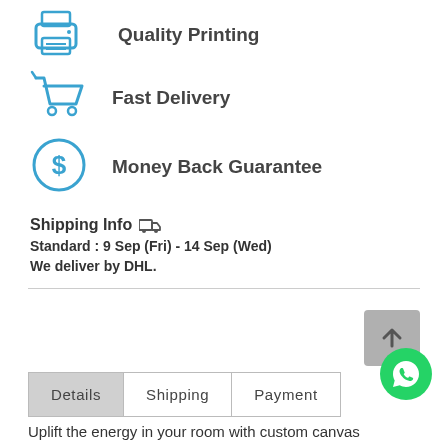Quality Printing
Fast Delivery
Money Back Guarantee
Shipping Info
Standard : 9 Sep (Fri) - 14 Sep (Wed)
We deliver by DHL.
| Details | Shipping | Payment |
| --- | --- | --- |
Uplift the energy in your room with custom canvas